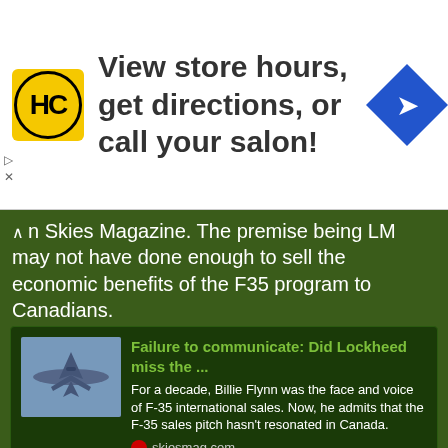[Figure (infographic): Ad banner with HC logo, text 'View store hours, get directions, or call your salon!', and a blue diamond navigation icon]
in Skies Magazine. The premise being LM may not have done enough to sell the economic benefits of the F35 program to Canadians.
[Figure (screenshot): Article card: 'Failure to communicate: Did Lockheed miss the ...' with thumbnail of F-35 jet. Description: For a decade, Billie Flynn was the face and voice of F-35 international sales. Now, he admits that the F-35 sales pitch hasn't resonated in Canada. Source: skiesmag.com]
FJAG
This site uses cookies to help personalise content, tailor your experience and to keep you logged in if you register.
By continuing to use this site, you are consenting to our use of cookies.